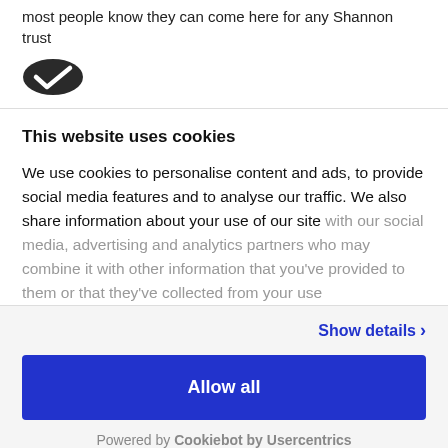most people know they can come here for any Shannon trust
[Figure (logo): Dark oval/shield shaped checkmark logo]
This website uses cookies
We use cookies to personalise content and ads, to provide social media features and to analyse our traffic. We also share information about your use of our site with our social media, advertising and analytics partners who may combine it with other information that you've provided to them or that they've collected from your use
Show details ›
Allow all
Powered by Cookiebot by Usercentrics